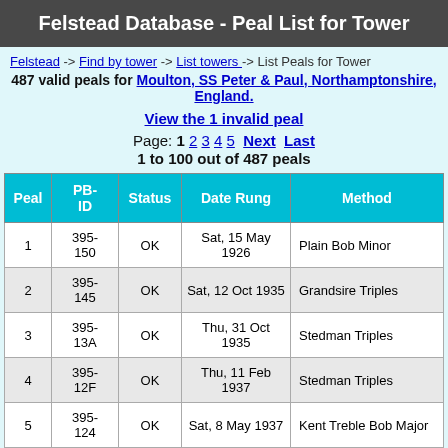Felstead Database - Peal List for Tower
Felstead -> Find by tower -> List towers -> List Peals for Tower
487 valid peals for Moulton, SS Peter & Paul, Northamptonshire, England.
View the 1 invalid peal
Page: 1 2 3 4 5 Next Last
1 to 100 out of 487 peals
| Peal | PB-ID | Status | Date Rung | Method |
| --- | --- | --- | --- | --- |
| 1 | 395-150 | OK | Sat, 15 May 1926 | Plain Bob Minor |
| 2 | 395-145 | OK | Sat, 12 Oct 1935 | Grandsire Triples |
| 3 | 395-13A | OK | Thu, 31 Oct 1935 | Stedman Triples |
| 4 | 395-12F | OK | Thu, 11 Feb 1937 | Stedman Triples |
| 5 | 395-124 | OK | Sat, 8 May 1937 | Kent Treble Bob Major |